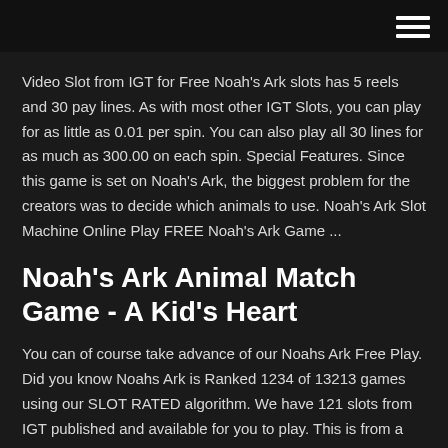Video Slot from IGT for Free Noah's Ark slots has 5 reels and 30 pay lines. As with most other IGT Slots, you can play for as little as 0.01 per spin. You can also play all 30 lines for as much as 300.00 on each spin. Special Features. Since this game is set on Noah's Ark, the biggest problem for the creators was to decide which animals to use. Noah's Ark Slot Machine Online Play FREE Noah's Ark Game ...
Noah's Ark Animal Match Game - A Kid's Heart
You can of course take advance of our Noahs Ark Free Play. Did you know Noahs Ark is Ranked 1234 of 13213 games using our SLOT RATED algorithm. We have 121 slots from IGT published and available for you to play. This is from a